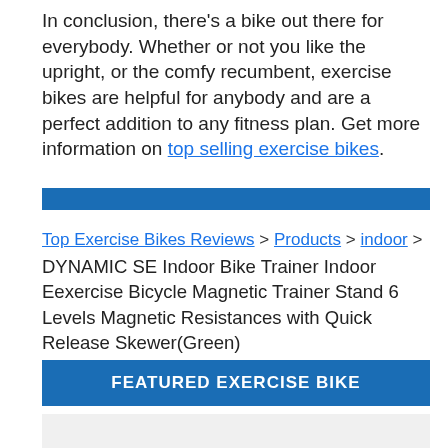In conclusion, there's a bike out there for everybody. Whether or not you like the upright, or the comfy recumbent, exercise bikes are helpful for anybody and are a perfect addition to any fitness plan. Get more information on top selling exercise bikes.
[Figure (other): Solid blue horizontal divider bar]
Top Exercise Bikes Reviews > Products > indoor > DYNAMIC SE Indoor Bike Trainer Indoor Eexercise Bicycle Magnetic Trainer Stand 6 Levels Magnetic Resistances with Quick Release Skewer(Green)
FEATURED EXERCISE BIKE
[Figure (other): Product sale image area with PS4 logo stub and SALE badge]